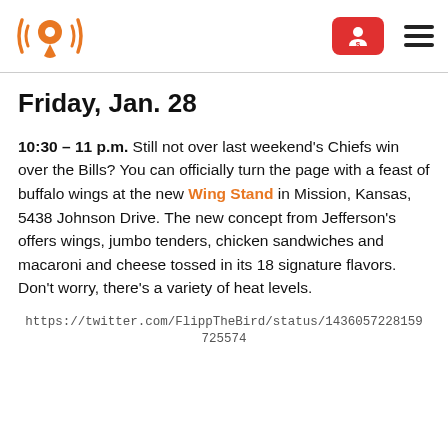[Logo: location pin with sound waves icon] [Red dollar/account button] [Hamburger menu]
Friday, Jan. 28
10:30 – 11 p.m. Still not over last weekend's Chiefs win over the Bills? You can officially turn the page with a feast of buffalo wings at the new Wing Stand in Mission, Kansas, 5438 Johnson Drive. The new concept from Jefferson's offers wings, jumbo tenders, chicken sandwiches and macaroni and cheese tossed in its 18 signature flavors. Don't worry, there's a variety of heat levels.
https://twitter.com/FlippTheBird/status/1436057228159725574